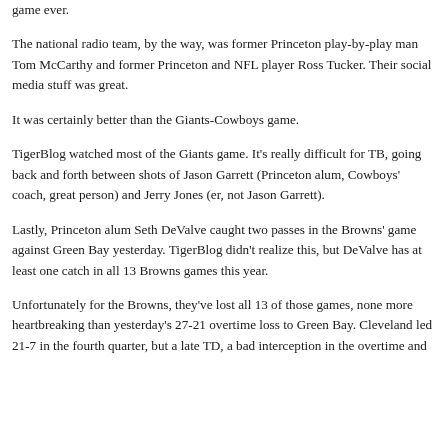game ever.
The national radio team, by the way, was former Princeton play-by-play man Tom McCarthy and former Princeton and NFL player Ross Tucker. Their social media stuff was great.
It was certainly better than the Giants-Cowboys game.
TigerBlog watched most of the Giants game. It's really difficult for TB, going back and forth between shots of Jason Garrett (Princeton alum, Cowboys' coach, great person) and Jerry Jones (er, not Jason Garrett).
Lastly, Princeton alum Seth DeValve caught two passes in the Browns' game against Green Bay yesterday. TigerBlog didn't realize this, but DeValve has at least one catch in all 13 Browns games this year.
Unfortunately for the Browns, they've lost all 13 of those games, none more heartbreaking than yesterday's 27-21 overtime loss to Green Bay. Cleveland led 21-7 in the fourth quarter, but a late TD, a bad interception in the overtime and